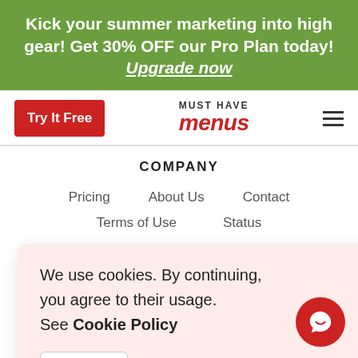Kick your summer marketing into high gear! Get 30% OFF our Pro Plan today! Upgrade now
[Figure (screenshot): Must Have Menus website navigation bar with Try It Free button and logo]
COMPANY
Pricing   About Us   Contact
Terms of Use   Status
We use cookies. By continuing, you agree to their usage. See Cookie Policy
Agree
ed. incorporated